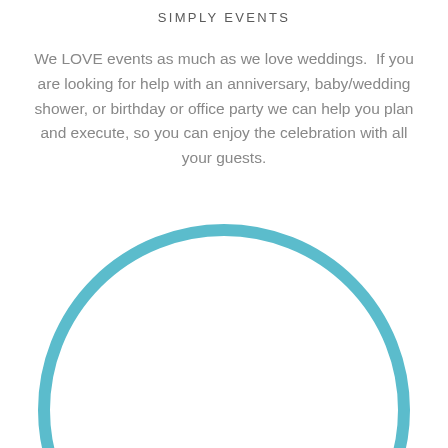SIMPLY EVENTS
We LOVE events as much as we love weddings.  If you are looking for help with an anniversary, baby/wedding shower, or birthday or office party we can help you plan and execute, so you can enjoy the celebration with all your guests.
[Figure (illustration): Large teal/turquoise circle outline (ring), partially cropped at the bottom of the page]